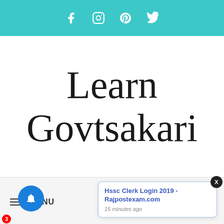[Figure (logo): Social media icons bar (Facebook, Instagram, Pinterest, Twitter) on teal background]
Learn Govtsakari
≡ MENU
Hssc Clerk Login 2019 - Rajpostexam.com
15 minutes ago